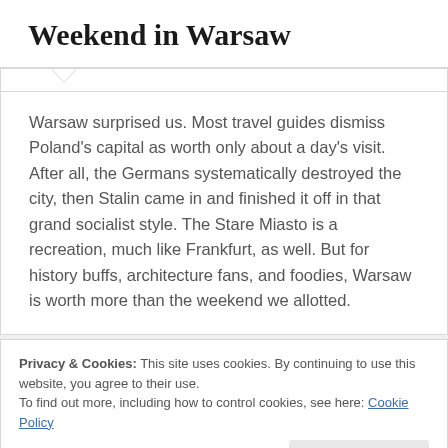Weekend in Warsaw
Warsaw surprised us. Most travel guides dismiss Poland's capital as worth only about a day's visit. After all, the Germans systematically destroyed the city, then Stalin came in and finished it off in that grand socialist style. The Stare Miasto is a recreation, much like Frankfurt, as well. But for history buffs, architecture fans, and foodies, Warsaw is worth more than the weekend we allotted.
Privacy & Cookies: This site uses cookies. By continuing to use this website, you agree to their use.
To find out more, including how to control cookies, see here: Cookie Policy